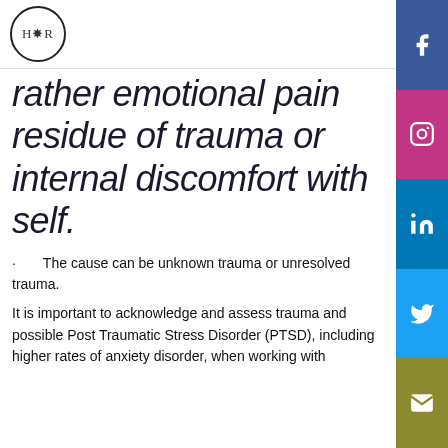HR logo and navigation bar
[Figure (logo): HR logo in a circle with decorative botanical elements, navigation hamburger menu]
rather emotional pain residue of trauma or internal discomfort with self.
· The cause can be unknown trauma or unresolved trauma.
It is important to acknowledge and assess trauma and possible Post Traumatic Stress Disorder (PTSD), including higher rates of anxiety disorder, when working with